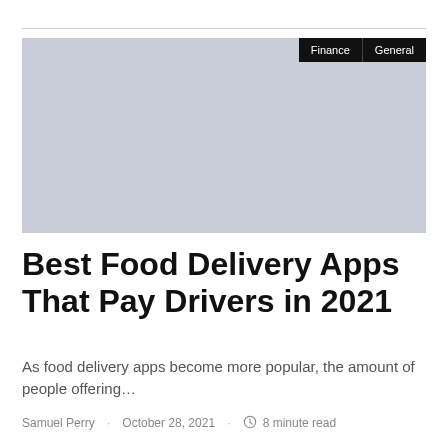[Figure (photo): Light blue-grey placeholder hero image with 'Finance' and 'General' category tags in the top right corner]
Best Food Delivery Apps That Pay Drivers in 2021
As food delivery apps become more popular, the amount of people offering…
Samuel Perry · October 28, 2021 · 8 minute read